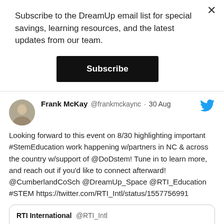×
Subscribe to the DreamUp email list for special savings, learning resources, and the latest updates from our team.
Subscribe
[Figure (screenshot): Tweet by Frank McKay (@frankmckaync) on 30 Aug with Twitter bird icon. Text: Looking forward to this event on 8/30 highlighting important #StemEducation work happening w/partners in NC & across the country w/support of @DoDstem! Tune in to learn more, and reach out if you'd like to connect afterward! @CumberlandCoSch @DreamUp_Space @RTI_Education #STEM https://twitter.com/RTI_Intl/status/1557756991. Quoted tweet from RTI International @RTI_Intl: How can education programs invest in diverse #STEM talent and...]